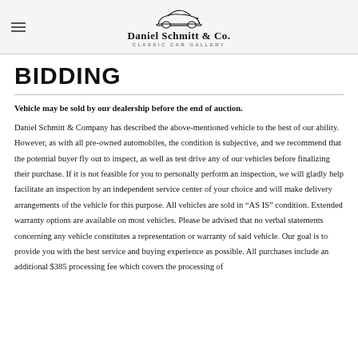Daniel Schmitt & Co. Classic Car Gallery
BIDDING
Vehicle may be sold by our dealership before the end of auction. Daniel Schmitt & Company has described the above-mentioned vehicle to the best of our ability. However, as with all pre-owned automobiles, the condition is subjective, and we recommend that the potential buyer fly out to inspect, as well as test drive any of our vehicles before finalizing their purchase. If it is not feasible for you to personally perform an inspection, we will gladly help facilitate an inspection by an independent service center of your choice and will make delivery arrangements of the vehicle for this purpose. All vehicles are sold in “AS IS” condition. Extended warranty options are available on most vehicles. Please be advised that no verbal statements concerning any vehicle constitutes a representation or warranty of said vehicle. Our goal is to provide you with the best service and buying experience as possible. All purchases include an additional $385 processing fee which covers the processing of